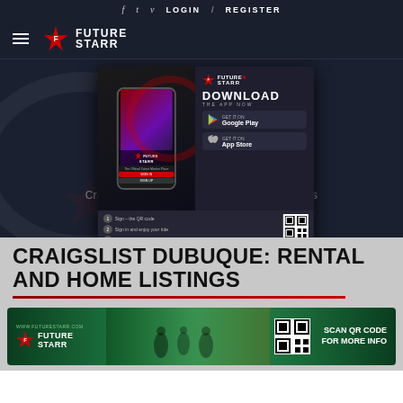f  t  v  LOGIN  /  REGISTER
[Figure (logo): FutureStarr logo with star icon and wordmark in dark navy header bar with hamburger menu]
[Figure (screenshot): FutureStarr app download popup overlay showing phone mockup, DOWNLOAD THE APP NOW heading, Google Play and App Store buttons, steps, QR code, and www.futurestarr.com URL on dark background with hero banner text 'FutureStarr' and 'Craigslist Du... me Listings' partially visible]
CRAIGSLIST DUBUQUE: RENTAL AND HOME LISTINGS
[Figure (photo): FutureStarr promotional banner with green sports background, logo, QR code and 'SCAN QR CODE FOR MORE INFO' text]